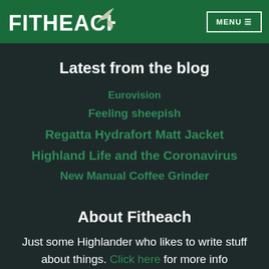Fitheach — MENU
Latest from the blog
Eurovision
Feeling sheepish
Regatta Hydrafort Matt Jacket
Highland Life and the Coronavirus
New Manual Coffee Grinder
About Fitheach
Just some Highlander who likes to write stuff about things. Click here for more info